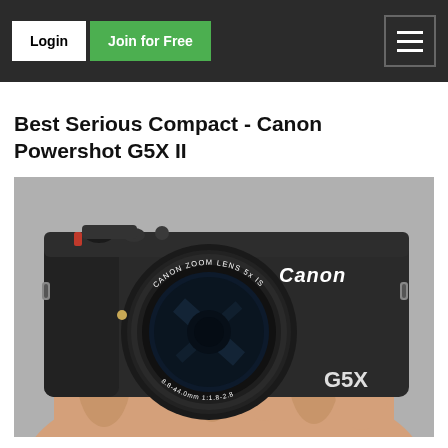Login | Join for Free
Best Serious Compact - Canon Powershot G5X II
[Figure (photo): Canon Powershot G5X II compact camera held in a person's hand, showing the front face with Canon Zoom Lens 5x IS, lens inscription 8.8-44.0mm 1:1.8-2.8, and G5X branding on a grey background.]